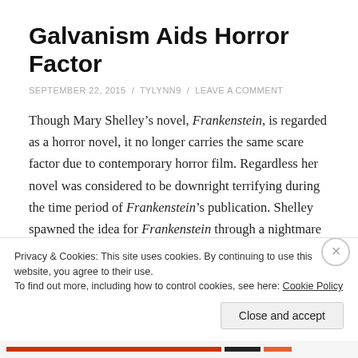Galvanism Aids Horror Factor
SEPTEMBER 22, 2015 / TYLYNN9 / LEAVE A COMMENT
Though Mary Shelley’s novel, Frankenstein, is regarded as a horror novel, it no longer carries the same scare factor due to contemporary horror film. Regardless her novel was considered to be downright terrifying during the time period of Frankenstein’s publication. Shelley spawned the idea for Frankenstein through a nightmare of hers, which closely resembled Frankenstein’s creation. At the time of Frankenstein’s publication, galvanism...
Privacy & Cookies: This site uses cookies. By continuing to use this website, you agree to their use.
To find out more, including how to control cookies, see here: Cookie Policy
Close and accept